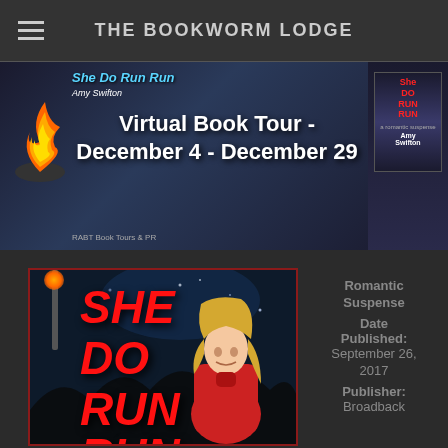THE BOOKWORM LODGE
[Figure (illustration): Virtual Book Tour banner for 'She Do Run Run' by Amy Swifton. Shows book title in blue italic text, author name, large white bold text saying 'Virtual Book Tour - December 4 - December 29', a fire/flame image on the left, and a small book cover on the right. RABT Book Tours & PR credited at bottom.]
[Figure (illustration): Book cover for 'She Do Run Run' by Amy Swifton. Dark night scene with streetlight, large red italic text SHE DO RUN RUN on the left, and a blonde woman in a red coat looking over her shoulder on the right.]
Romantic Suspense Date Published: September 26, 2017 Publisher: Broadback